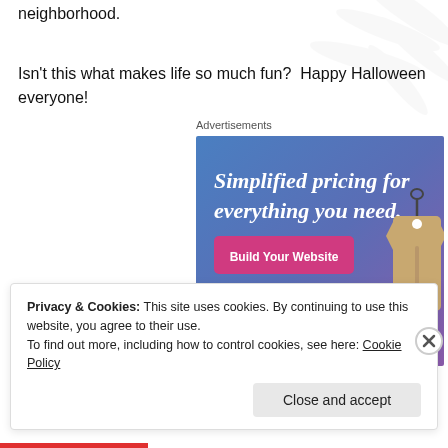neighborhood.
Isn't this what makes life so much fun?  Happy Halloween everyone!
Advertisements
[Figure (screenshot): WordPress.com advertisement banner with gradient blue-purple background. Text reads: 'Simplified pricing for everything you need.' A pink button says 'Build Your Website'. A price tag graphic is shown on the right. WordPress.com logo at the bottom.]
Privacy & Cookies: This site uses cookies. By continuing to use this website, you agree to their use.
To find out more, including how to control cookies, see here: Cookie Policy
Close and accept